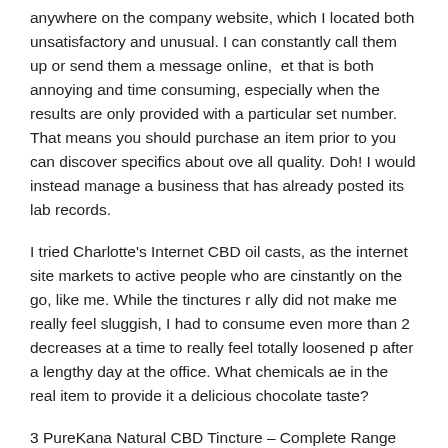anywhere on the company website, which I located both unsatisfactory and unusual. I can constantly call them up or send them a message online, yet that is both annoying and time consuming, especially when the results are only provided with a particular set number. That means you should purchase an item prior to you can discover specifics about overall quality. Doh! I would instead manage a business that has already posted its lab records.
I tried Charlotte's Internet CBD oil casts, as the internet site markets to active people who are constantly on the go, like me. While the tinctures really did not make me really feel sluggish, I had to consume even more than 2 decreases at a time to really feel totally loosened up after a lengthy day at the office. What chemicals are in the real item to provide it a delicious chocolate taste?
3 PureKana Natural CBD Tincture – Complete Range